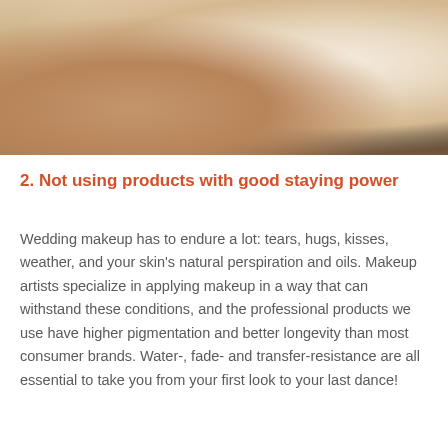[Figure (photo): A woman with an updo hairstyle seen from behind, looking at her reflection in a round black-framed mirror. She is smiling. Makeup brushes are visible in the background on the right side.]
2. Not using products with good staying power
Wedding makeup has to endure a lot: tears, hugs, kisses, weather, and your skin's natural perspiration and oils. Makeup artists specialize in applying makeup in a way that can withstand these conditions, and the professional products we use have higher pigmentation and better longevity than most consumer brands. Water-, fade- and transfer-resistance are all essential to take you from your first look to your last dance!
[Figure (photo): Partial view of another photograph at the bottom of the page, partially cut off.]